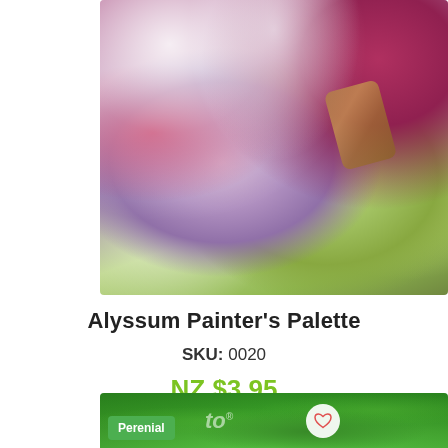[Figure (photo): Close-up photo of Alyssum Painter's Palette flowers in multiple colors including white, pink, purple, magenta, and yellow-green clusters growing together]
Alyssum Painter's Palette
SKU: 0020
NZ $3.95
[Figure (photo): Bottom portion of a green plant/garden background with a 'Perenial' badge label and a heart/wishlist button, partially showing a logo]